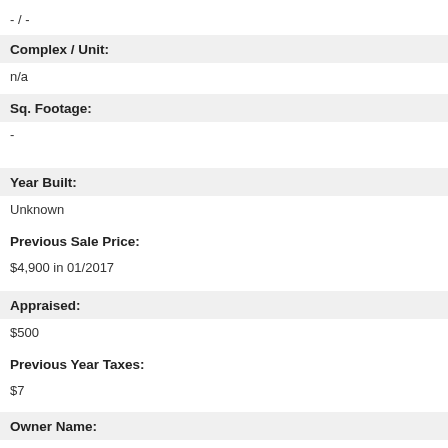- / -
Complex / Unit:
n/a
Sq. Footage:
-
Year Built:
Unknown
Previous Sale Price:
$4,900 in 01/2017
Appraised:
$500
Previous Year Taxes:
$7
Owner Name: